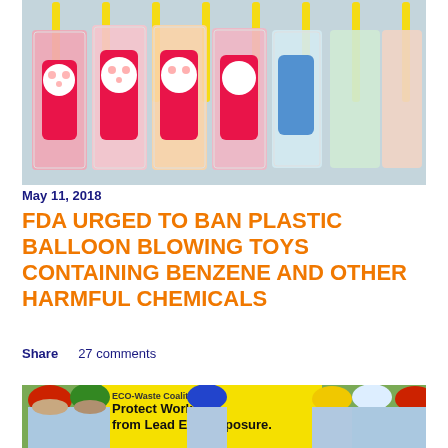[Figure (photo): Colorful plastic balloon blowing toys in clear packaging, featuring cartoon characters (Hello Kitty, Winnie the Pooh), with yellow sticks, arranged in rows on a display.]
May 11, 2018
FDA URGED TO BAN PLASTIC BALLOON BLOWING TOYS CONTAINING BENZENE AND OTHER HARMFUL CHEMICALS
Share    27 comments
[Figure (photo): Workers wearing colorful hard hats (red, green, blue, yellow, white, red) holding a banner reading 'Protect Workers from Lead Exposure' with ECO-Waste Coalition and Philippine Association of Paint Manufacturers logos visible. People are wearing light blue shirts.]